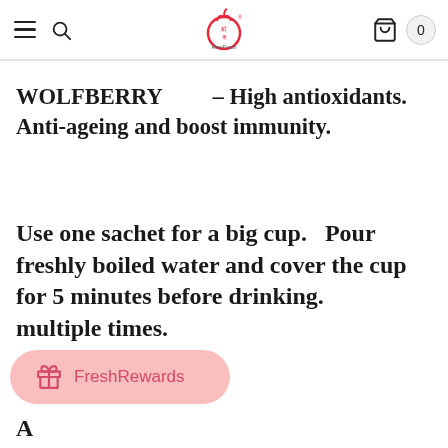RawFresh navigation header with hamburger menu, search icon, logo, cart icon and badge showing 0
WOLFBERRY – High antioxidants. Anti-ageing and boost immunity.
Use one sachet for a big cup.   Pour freshly boiled water and cover the cup for 5 minutes before drinking. ...multiple times.
A...